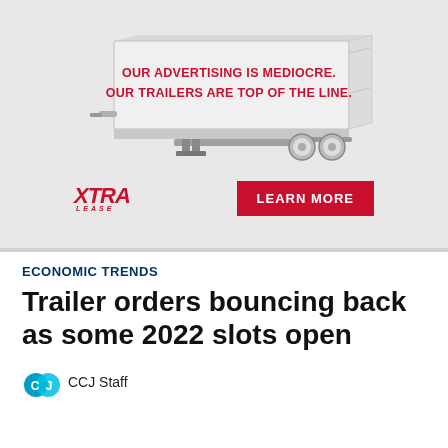[Figure (illustration): Advertisement for XTRA Lease showing a white semi-trailer with red bold text reading 'OUR ADVERTISING IS MEDIOCRE. OUR TRAILERS ARE TOP OF THE LINE.' with XTRA Lease logo and a red 'LEARN MORE' button on a light gray background.]
ECONOMIC TRENDS
Trailer orders bouncing back as some 2022 slots open
CCJ Staff